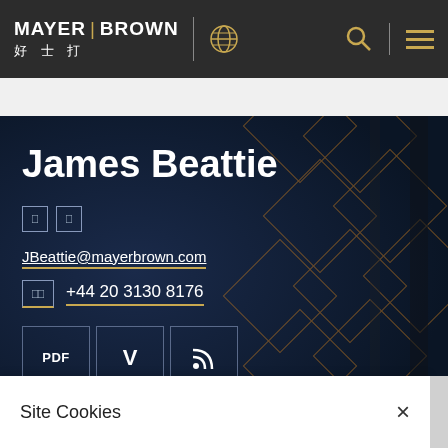MAYER | BROWN 好士打
James Beattie
🔲🔲
JBeattie@mayerbrown.com
🔲🔲  +44 20 3130 8176
PDF | V | RSS
Site Cookies